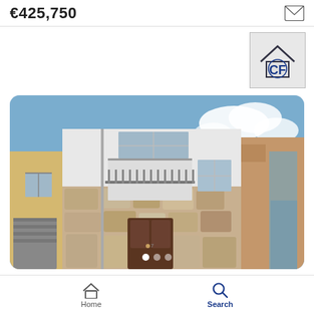€425,750
[Figure (logo): Real estate agency logo with house outline and CF monogram in blue]
[Figure (photo): Exterior photo of a townhouse in Os de Balaguer, Spain. Multi-story building with stone facade on lower half and white rendered upper half, dark wooden door, balcony with iron railings, flanked by adjacent buildings.]
House for sale in Os de Balaguer, Spain
Os de Balaguer
House • 4 room(s) • 4 Bed. • 1 Bath. • 103 m²
Home   Search